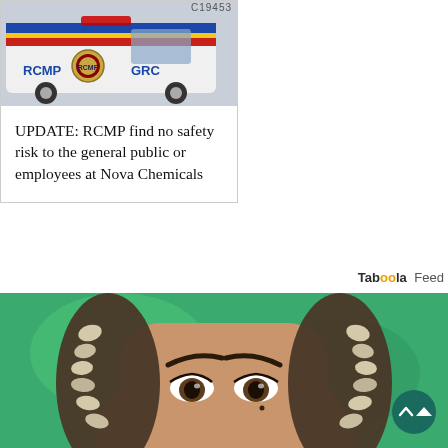[Figure (photo): RCMP GRC police vehicle with logo and colored stripe]
UPDATE: RCMP find no safety risk to the general public or employees at Nova Chemicals
Taboola Feed
[Figure (photo): Close-up of a smiling person with braided hair and shell accessories against a green background]